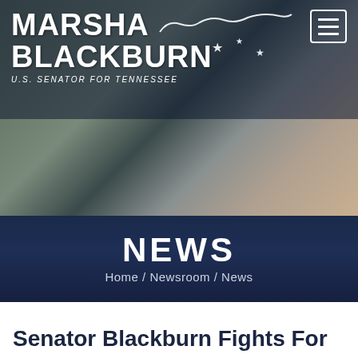[Figure (photo): Hero banner photo showing Senator Marsha Blackburn in conversation, with the Marsha Blackburn U.S. Senator for Tennessee logo overlay on a dark header background, and a hamburger menu icon in the top right corner.]
NEWS
Home / Newsroom / News
Senator Blackburn Fights For